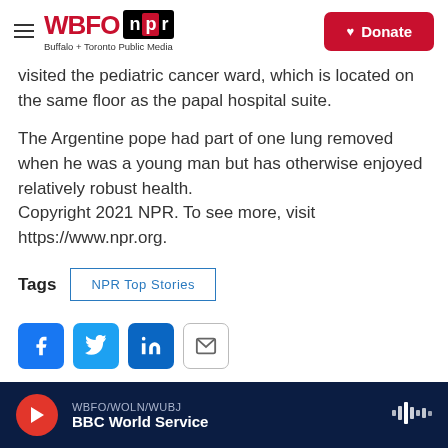WBFO npr — Buffalo + Toronto Public Media | Donate
visited the pediatric cancer ward, which is located on the same floor as the papal hospital suite.
The Argentine pope had part of one lung removed when he was a young man but has otherwise enjoyed relatively robust health. Copyright 2021 NPR. To see more, visit https://www.npr.org.
Tags   NPR Top Stories
[Figure (other): Social sharing buttons: Facebook, Twitter, LinkedIn, Email]
WBFO/WOLN/WUBJ BBC World Service